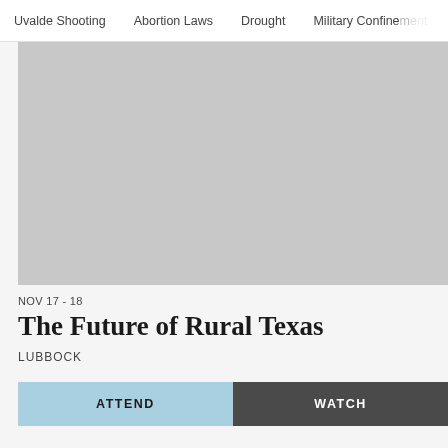Uvalde Shooting   Abortion Laws   Drought   Military Confinement
[Figure (photo): Large gray placeholder image for event]
NOV 17 - 18
The Future of Rural Texas
LUBBOCK
ATTEND   WATCH